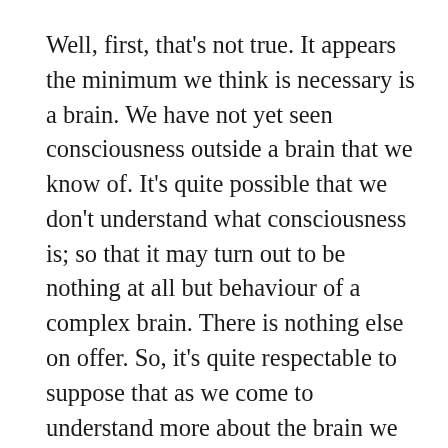Well, first, that's not true. It appears the minimum we think is necessary is a brain. We have not yet seen consciousness outside a brain that we know of. It's quite possible that we don't understand what consciousness is; so that it may turn out to be nothing at all but behaviour of a complex brain. There is nothing else on offer. So, it's quite respectable to suppose that as we come to understand more about the brain we will be able to figure out how consciousness comes about, and then build non-wet conscious systems. We already attribute consciousness to many non-human animals that aren't